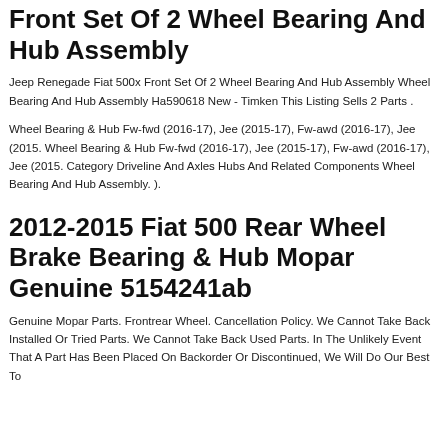Front Set Of 2 Wheel Bearing And Hub Assembly
Jeep Renegade Fiat 500x Front Set Of 2 Wheel Bearing And Hub Assembly Wheel Bearing And Hub Assembly Ha590618 New - Timken This Listing Sells 2 Parts .
Wheel Bearing & Hub Fw-fwd (2016-17), Jee (2015-17), Fw-awd (2016-17), Jee (2015. Wheel Bearing & Hub Fw-fwd (2016-17), Jee (2015-17), Fw-awd (2016-17), Jee (2015. Category Driveline And Axles Hubs And Related Components Wheel Bearing And Hub Assembly. ).
2012-2015 Fiat 500 Rear Wheel Brake Bearing & Hub Mopar Genuine 5154241ab
Genuine Mopar Parts. Frontrear Wheel. Cancellation Policy. We Cannot Take Back Installed Or Tried Parts. We Cannot Take Back Used Parts. In The Unlikely Event That A Part Has Been Placed On Backorder Or Discontinued, We Will Do Our Best To